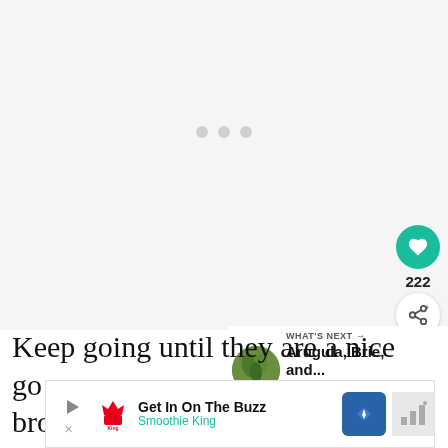[Figure (other): Large light gray image placeholder area with three gray loading dots in the center]
[Figure (other): Teal circular heart/like button with heart icon, showing count 222, and a white circular share button below it on the right side]
[Figure (other): WHAT'S NEXT section with circular thumbnail of greens and text 'Arugula, Brie, and...']
Keep going until they are a nice go brown.
[Figure (other): Advertisement banner: Get In On The Buzz - Smoothie King, with play button, logo, navigation icon, and bar chart icon]